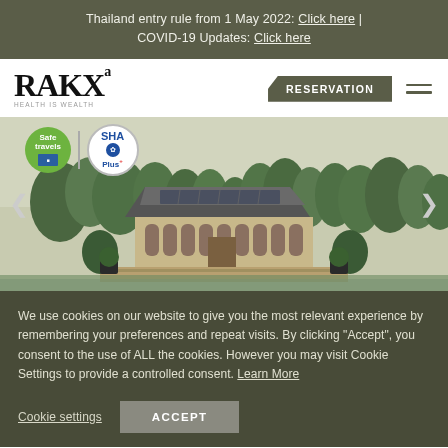Thailand entry rule from 1 May 2022: Click here | COVID-19 Updates: Click here
[Figure (logo): RAK Xa logo with tagline HEALTH IS WEALTH]
RESERVATION
[Figure (photo): Wellness resort building surrounded by nature, with Safe Travels and SHA Plus certification badges overlay, carousel with left and right arrows]
We use cookies on our website to give you the most relevant experience by remembering your preferences and repeat visits. By clicking “Accept”, you consent to the use of ALL the cookies. However you may visit Cookie Settings to provide a controlled consent. Learn More
Cookie settings
ACCEPT